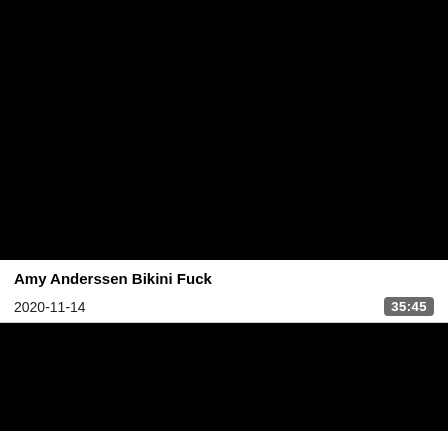[Figure (photo): Black video thumbnail placeholder (top)]
Amy Anderssen Bikini Fuck
2020-11-14
35:45
[Figure (photo): Black video thumbnail placeholder (bottom)]